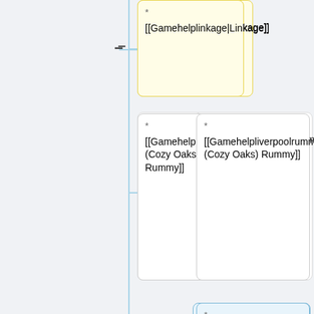[Figure (flowchart): Wiki-style node/card diagram showing game help links in a tree structure with connecting lines. Cards contain wiki markup links for various board games. One yellow card (Gamehelplinkage|Linkage), two white cards (Gamehelpliverpoolrummy|Liverpool (Cozy Oaks) Rummy), one blue highlighted card (Gamehelpme moir|Memoir 44), two white cards (Gamehelpmercadodelisboaste|Mercado de Lisboa), two white cards (Gamehelpminh watu|Minhwatu). Minus and plus connectors on left side.]